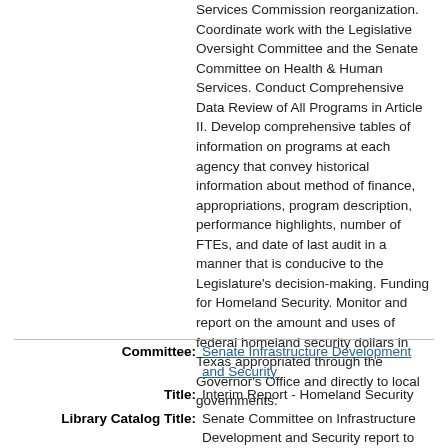Services Commission reorganization. Coordinate work with the Legislative Oversight Committee and the Senate Committee on Health & Human Services. Conduct Comprehensive Data Review of All Programs in Article II. Develop comprehensive tables of information on programs at each agency that convey historical information about method of finance, appropriations, program description, performance highlights, number of FTEs, and date of last audit in a manner that is conducive to the Legislature's decision-making. Funding for Homeland Security. Monitor and report on the amount and uses of federal homeland security dollars in Texas appropriated through the Governor's Office and directly to local governments.
Committee: Senate Infrastructure Development and Security
Title: Interim Report - Homeland Security
Library Catalog Title: Senate Committee on Infrastructure Development and Security report to the 70th Legislature ; homeland security